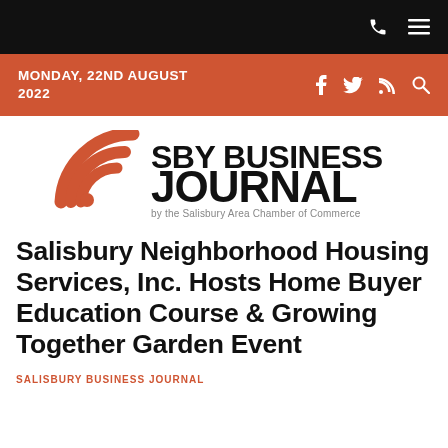MONDAY, 22ND AUGUST 2022
[Figure (logo): SBY Business Journal logo — orange wifi/signal arc icon on the left, bold black text 'SBY BUSINESS JOURNAL' on the right, subtext 'by the Salisbury Area Chamber of Commerce' below]
Salisbury Neighborhood Housing Services, Inc. Hosts Home Buyer Education Course & Growing Together Garden Event
SALISBURY BUSINESS JOURNAL